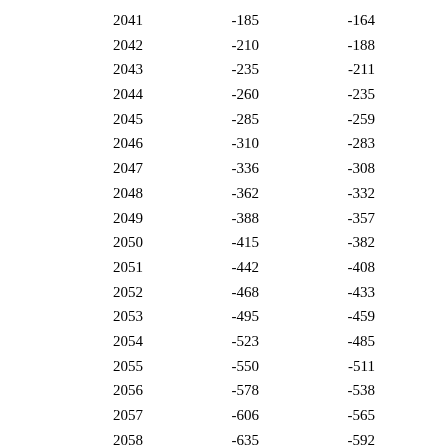| 2041 | -185 | -164 |
| 2042 | -210 | -188 |
| 2043 | -235 | -211 |
| 2044 | -260 | -235 |
| 2045 | -285 | -259 |
| 2046 | -310 | -283 |
| 2047 | -336 | -308 |
| 2048 | -362 | -332 |
| 2049 | -388 | -357 |
| 2050 | -415 | -382 |
| 2051 | -442 | -408 |
| 2052 | -468 | -433 |
| 2053 | -495 | -459 |
| 2054 | -523 | -485 |
| 2055 | -550 | -511 |
| 2056 | -578 | -538 |
| 2057 | -606 | -565 |
| 2058 | -635 | -592 |
| 2059 | -664 | -620 |
| 2060 | -694 | -648 |